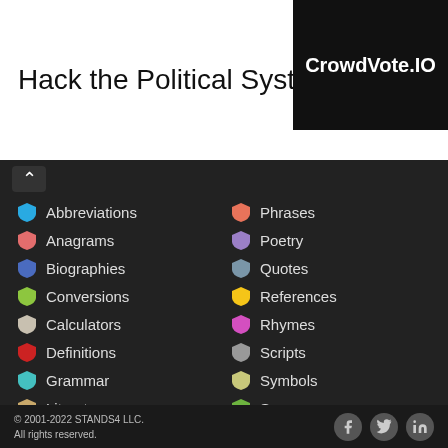[Figure (screenshot): Advertisement banner: 'Hack the Political System.' with CrowdVote.IO logo on dark background]
[Figure (screenshot): Navigation menu panel on dark background with two columns of category links, each with a colored shield icon: Abbreviations, Anagrams, Biographies, Conversions, Calculators, Definitions, Grammar, Literature, Lyrics (left); Phrases, Poetry, Quotes, References, Rhymes, Scripts, Symbols, Synonyms, Zip Codes (right)]
© 2001-2022 STANDS4 LLC.
All rights reserved.